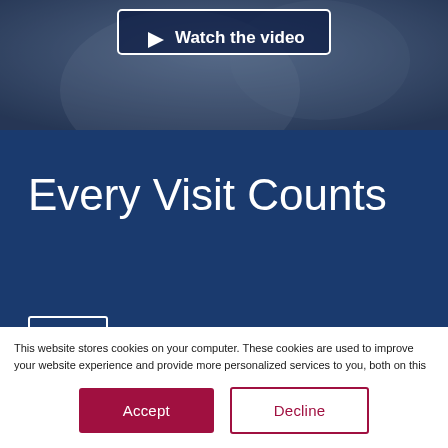[Figure (screenshot): Dark photographic background with 'Watch the video' button overlay at top]
Every Visit Counts
[Figure (other): White outlined button on dark blue background, partially visible]
This website stores cookies on your computer. These cookies are used to improve your website experience and provide more personalized services to you, both on this website and through other media. To find out more about the cookies we use, see our Privacy Policy.
We won't track your information when you visit our site. But in order to comply with your preferences, we'll have to use just one tiny cookie so that you're not asked to make this choice again.
Accept
Decline